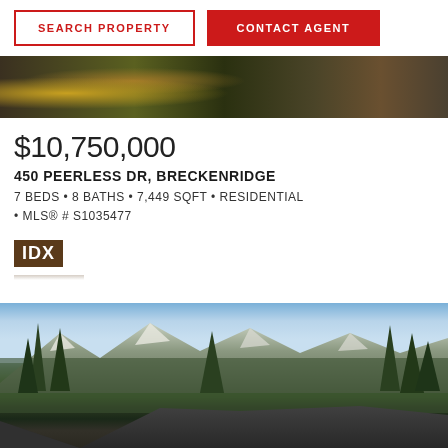[Figure (screenshot): Search Property button (outlined red border, red text) and Contact Agent button (solid red background, white text)]
[Figure (photo): Aerial/driveway view of mountain property with autumn trees and garage]
$10,750,000
450 PEERLESS DR, BRECKENRIDGE
7 BEDS • 8 BATHS • 7,449 SQFT • RESIDENTIAL • MLS® # S1035477
[Figure (logo): IDX logo — white text on dark brown background]
[Figure (photo): Mountain panorama at sunset with evergreen trees, snow-capped peaks, and rooftop in foreground]